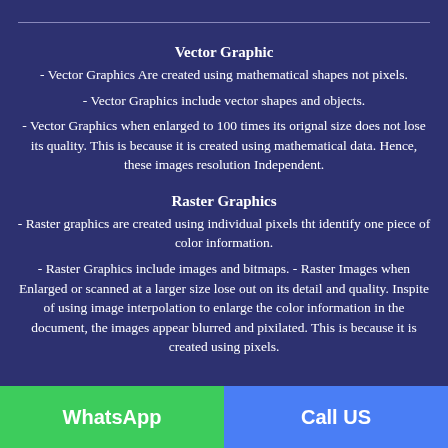Vector Graphic
- Vector Graphics Are created using mathematical shapes not pixels.
- Vector Graphics include vector shapes and objects.
- Vector Graphics when enlarged to 100 times its orignal size does not lose its quality. This is because it is created using mathematical data. Hence, these images resolution Independent.
Raster Graphics
- Raster graphics are created using individual pixels tht identify one piece of color information.
- Raster Graphics include images and bitmaps. - Raster Images when Enlarged or scanned at a larger size lose out on its detail and quality. Inspite of using image interpolation to enlarge the color information in the document, the images appear blurred and pixilated. This is because it is created using pixels.
WhatsApp | Call US